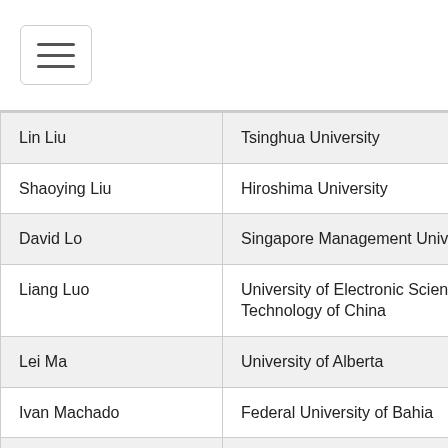[Figure (other): Hamburger menu button icon with three horizontal lines inside a rounded rectangle border]
| Lin Liu | Tsinghua University |
| Shaoying Liu | Hiroshima University |
| David Lo | Singapore Management University |
| Liang Luo | University of Electronic Science and Technology of China |
| Lei Ma | University of Alberta |
| Ivan Machado | Federal University of Bahia |
| Henrique Madeira | University of Coimbra |
| Rui Maranhao | University of Porto |
| Dusica Marijan | Simula Research Laboratory |